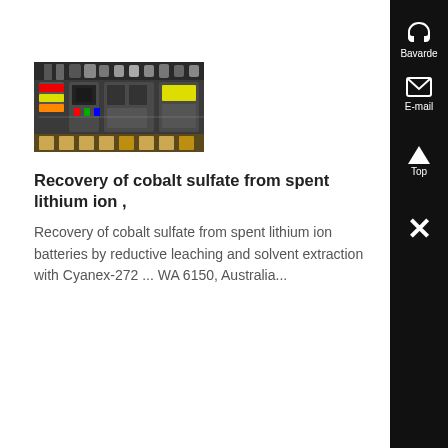[Figure (photo): Photograph of an electrical/industrial panel with wiring, circuit breakers, and colorful components]
Recovery of cobalt sulfate from spent lithium ion ,
Recovery of cobalt sulfate from spent lithium ion batteries by reductive leaching and solvent extraction with Cyanex-272 ... WA 6150, Australia...